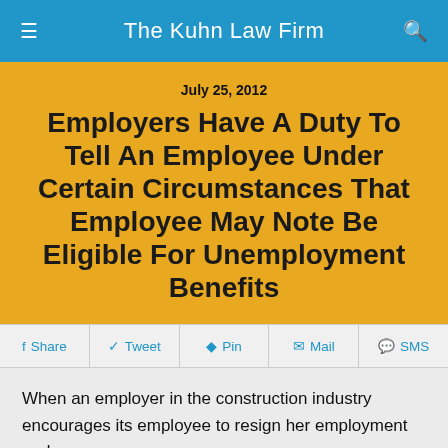The Kuhn Law Firm
July 25, 2012
Employers Have A Duty To Tell An Employee Under Certain Circumstances That Employee May Note Be Eligible For Unemployment Benefits
Share  Tweet  Pin  Mail  SMS
When an employer in the construction industry encourages its employee to resign her employment and